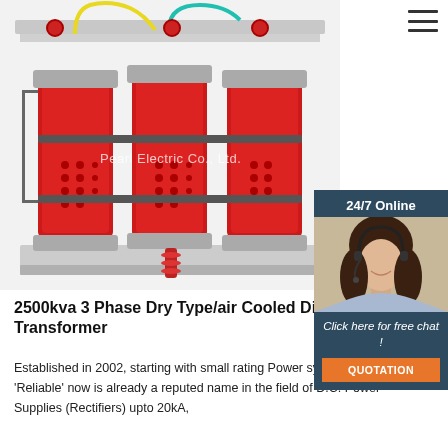[Figure (photo): A 2500kVA 3-phase dry type air-cooled distribution transformer with three large red cylindrical coils mounted on a white/gray base frame, with colored wiring at the top. Watermark reads 'Pearl Electric Co., Ltd.' across the center.]
[Figure (photo): Customer service agent photo — woman with headset smiling, used for '24/7 Online' live chat widget on the right side of the page.]
24/7 Online
Click here for free chat !
QUOTATION
2500kva 3 Phase Dry Type/air Cooled Distribution Transformer
Established in 2002, starting with small rating Power systems 'Reliable' now is already a reputed name in the field of D.C. Power Supplies (Rectifiers) upto 20kA,